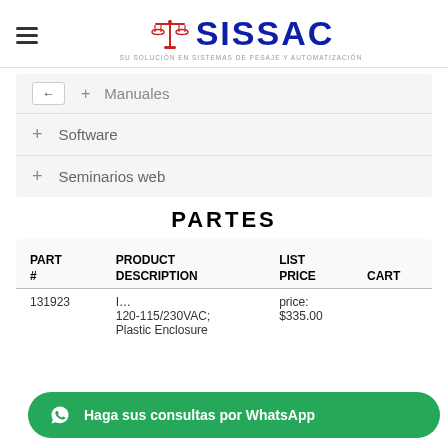[Figure (logo): SISSAC logo with balance scale icon and tagline SU SOLUCIÓN EN SISTEMAS DE PESAJE Y AUTOMATIZACIÓN]
+ Manuales
+ Software
+ Seminarios web
PARTES
| PART # | PRODUCT DESCRIPTION | LIST PRICE | CART |
| --- | --- | --- | --- |
| 131923 | I... 120-115/230VAC; Plastic Enclosure | $335.00 |  |
Haga sus consultas por WhatsApp